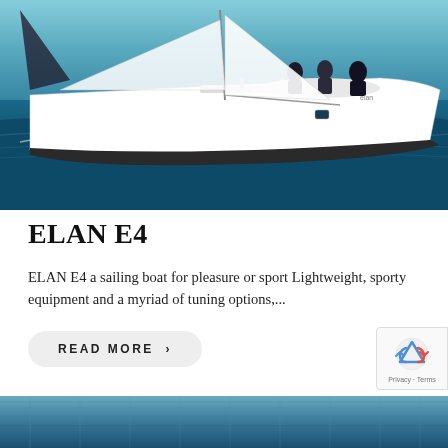[Figure (photo): White sailing yacht (Elan E4) cutting through blue ocean waves with crew members on deck, taken from water level]
ELAN E4
ELAN E4 a sailing boat for pleasure or sport Lightweight, sporty equipment and a myriad of tuning options,...
READ MORE >
[Figure (photo): Partial view of boat deck/hull at water level, bottom strip]